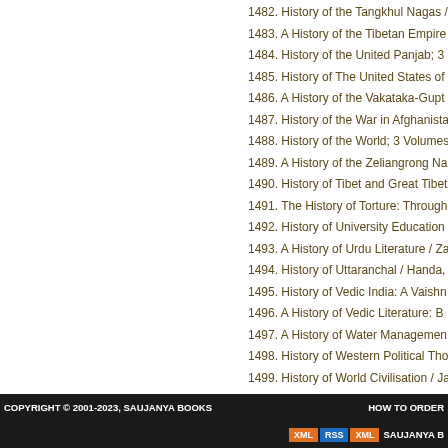1482. History of the Tangkhul Nagas /
1483. A History of the Tibetan Empire
1484. History of the United Panjab; 3
1485. History of The United States of
1486. A History of the Vakataka-Gupt
1487. History of the War in Afghanista
1488. History of the World; 3 Volumes
1489. A History of the Zeliangrong Na
1490. History of Tibet and Great Tibet
1491. The History of Torture: Through
1492. History of University Education
1493. A History of Urdu Literature / Za
1494. History of Uttaranchal / Handa,
1495. History of Vedic India: A Vaishn
1496. A History of Vedic Literature: B
1497. A History of Water Managemen
1498. History of Western Political Tho
1499. History of World Civilisation / Ja
1500. History of World Civilization / S
COPYRIGHT © 2001-2023, SAUJANYA BOOKS    HOW TO ORDER    XML  RSS  XML  SAUJANYA B